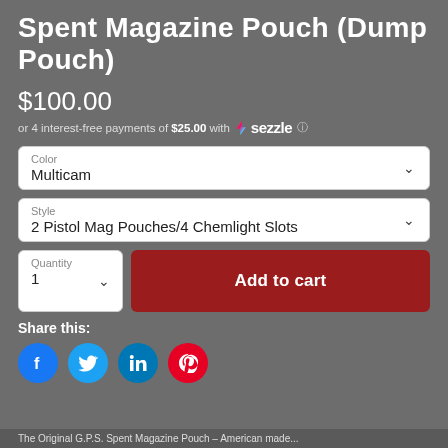Spent Magazine Pouch (Dump Pouch)
$100.00
or 4 interest-free payments of $25.00 with sezzle
Color
Multicam
Style
2 Pistol Mag Pouches/4 Chemlight Slots
Quantity
1
Add to cart
Share this:
The Original G.P.S. Spent Magazine Pouch – American made...